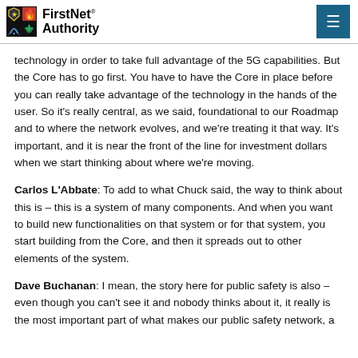FirstNet Authority
technology in order to take full advantage of the 5G capabilities. But the Core has to go first. You have to have the Core in place before you can really take advantage of the technology in the hands of the user. So it's really central, as we said, foundational to our Roadmap and to where the network evolves, and we're treating it that way. It's important, and it is near the front of the line for investment dollars when we start thinking about where we're moving.
Carlos L'Abbate: To add to what Chuck said, the way to think about this is – this is a system of many components. And when you want to build new functionalities on that system or for that system, you start building from the Core, and then it spreads out to other elements of the system.
Dave Buchanan: I mean, the story here for public safety is also – even though you can't see it and nobody thinks about it, it really is the most important part of what makes our public safety network, a